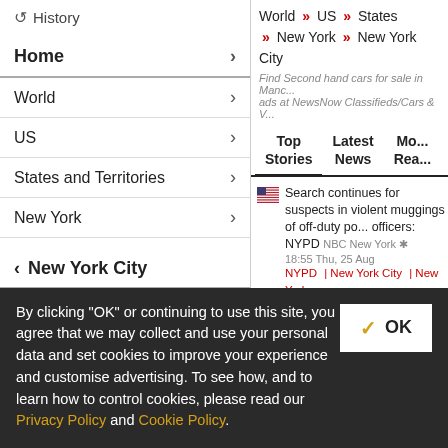↺ History
Home ›
World ›
US ›
States and Territories ›
New York ›
‹ New York City
New York City Coronavirus
Manhattan
Brooklyn
World » US » States » New York » New York City
Find Second hand cars for sale in Manchester ads at NewsNow Classifieds/Cars & V...
Top Stories | Latest News | Mo... Rea...
Search continues for suspects in violent muggings of off-duty police officers: NYPD NBC New York 18:55 Thu, 25 Aug NYPD | New York City | New York...
Blasts, Benny, bling ... and a hot dog straw? What went right for the Yankees in the Subway Series ESPN.co.uk 16:01 Wed, 24 Au... New York Mets | New York City | New York Yankees
By clicking "OK" or continuing to use this site, you agree that we may collect and use your personal data and set cookies to improve your experience and customise advertising. To see how, and to learn how to control cookies, please read our Privacy Policy and Cookie Policy.